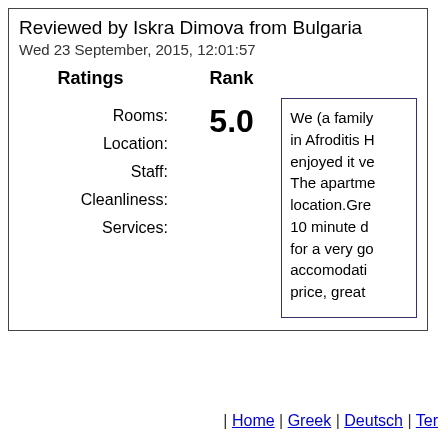Reviewed by Iskra Dimova from Bulgaria
Wed 23 September, 2015, 12:01:57
Ratings
Rank
5.0
Rooms:
Location:
Staff:
Cleanliness:
Services:
We (a family in Afroditis H enjoyed it ve The apartme location.Gre 10 minute d for a very go accomodati price, great
| Home | Greek | Deutsch | Ter